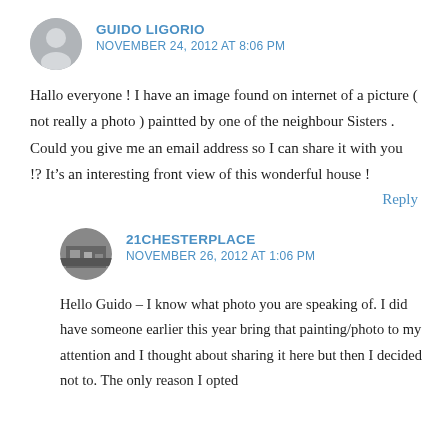GUIDO LIGORIO
NOVEMBER 24, 2012 AT 8:06 PM
Hallo everyone ! I have an image found on internet of a picture ( not really a photo ) paintted by one of the neighbour Sisters . Could you give me an email address so I can share it with you !? It’s an interesting front view of this wonderful house !
Reply
21CHESTERPLACE
NOVEMBER 26, 2012 AT 1:06 PM
Hello Guido – I know what photo you are speaking of. I did have someone earlier this year bring that painting/photo to my attention and I thought about sharing it here but then I decided not to. The only reason I opted